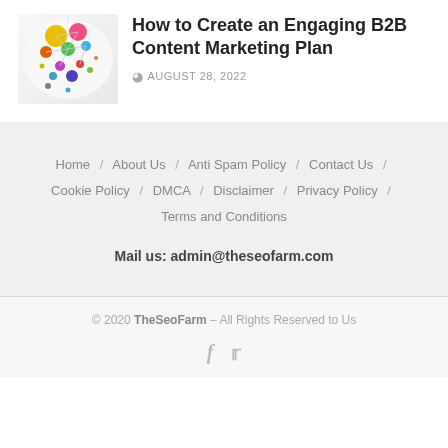[Figure (illustration): Colorful circles/bubbles illustration representing content marketing or social media network]
How to Create an Engaging B2B Content Marketing Plan
AUGUST 28, 2022
Home / About Us / Anti Spam Policy / Contact Us / Cookie Policy / DMCA / Disclaimer / Privacy Policy / Terms and Conditions
Mail us: admin@theseofarm.com
© 2020 TheSeoFarm – All Rights Reserved to Us